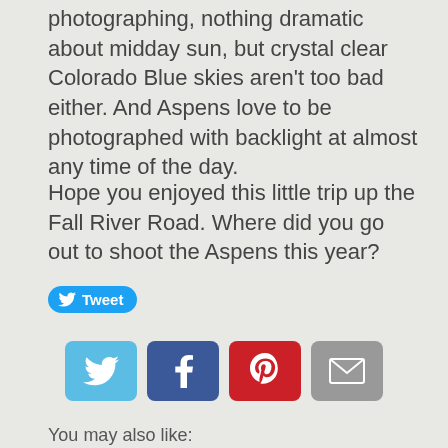photographing, nothing dramatic about midday sun, but crystal clear Colorado Blue skies aren't too bad either. And Aspens love to be photographed with backlight at almost any time of the day.
Hope you enjoyed this little trip up the Fall River Road. Where did you go out to shoot the Aspens this year?
[Figure (infographic): Tweet button with Twitter bird icon in blue rounded rectangle, then row of four social sharing icons: Twitter (light blue), Facebook (dark blue), Pinterest (red), Email (grey)]
You may also like:
[Figure (photo): Photo of a waterfall behind evergreen trees with a red-roofed cabin]
[Figure (photo): Photo of aspen trees with white trunks and yellow-green foliage on a hillside]